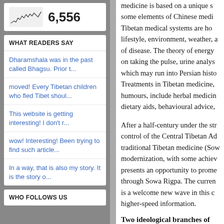[Figure (other): Small sparkline/line chart icon showing page view statistics with count 6,556]
6,556
WHAT READERS SAY
Dharamshala was in the past called Bhagsu. Prior t...
moved! Every Tibetan children who fled Tibet shoul...
This website is getting interesting! I don&#39;t r...
wow! Interesting! Been trying to find such article...
In a way, that is also my story. It is the story o...
WHO FOLLOWS US
medicine is based on a unique s some elements of Chinese medi Tibetan medical systems are ho lifestyle, environment, weather, a of disease. The theory of energy on taking the pulse, urine analys which may run into Persian histo Treatments in Tibetan medicine, humours, include herbal medicin dietary aids, behavioural advice,
After a half-century under the str control of the Central Tibetan Ad traditional Tibetan medicine (Sow modernization, with some achiev presents an opportunity to prome through Sowa Rigpa. The curren is a welcome new wave in this c higher-speed information.
Two ideological branches of
As a chemist I believe a develop in the modernization of Tibetan h efficacy/toxicology of Tibetan he Tibetan herbal pharmaceutical in